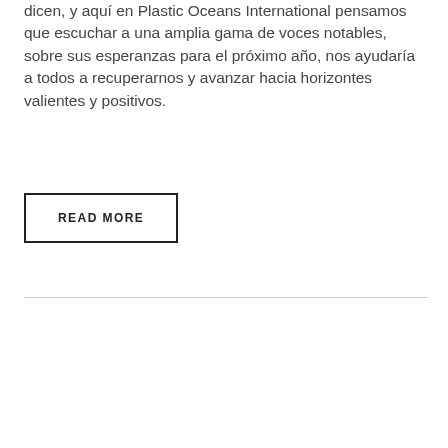dicen, y aquí en Plastic Oceans International pensamos que escuchar a una amplia gama de voces notables, sobre sus esperanzas para el próximo año, nos ayudaría a todos a recuperarnos y avanzar hacia horizontes valientes y positivos.
READ MORE